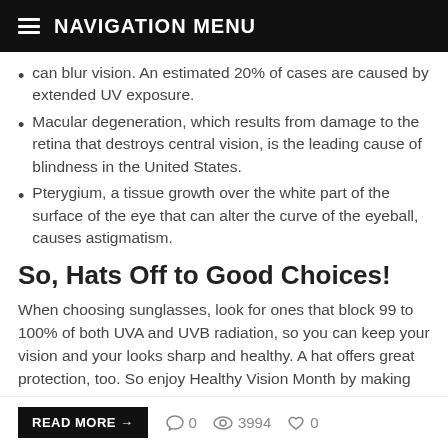NAVIGATION MENU
can blur vision. An estimated 20% of cases are caused by extended UV exposure.
Macular degeneration, which results from damage to the retina that destroys central vision, is the leading cause of blindness in the United States.
Pterygium, a tissue growth over the white part of the surface of the eye that can alter the curve of the eyeball, causes astigmatism.
So, Hats Off to Good Choices!
When choosing sunglasses, look for ones that block 99 to 100% of both UVA and UVB radiation, so you can keep your vision and your looks sharp and healthy. A hat offers great protection, too. So enjoy Healthy Vision Month by making smart vision choices.
READ MORE → 0 3994 0